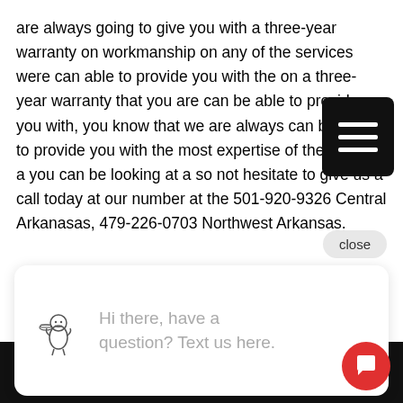are always going to give you with a three-year warranty on workmanship on any of the services were can able to provide you with the on a three-year warranty that you are can be able to provide you with, you know that we are always can be here to provide you with the most expertise of the service a you can be looking at a so not hesitate to give us a call today at our number at the 501-920-9326 Central Arkanasas, 479-226-0703 Northwest Arkansas.
[Figure (other): Hamburger menu button (three horizontal white lines on black rounded rectangle background)]
close
[Figure (illustration): Chat widget popup with a cartoon mascot (character holding a dish) and text: Hi there, have a question? Text us here.]
© 2022 Surface Renew. All rights reserved. | Sitem...